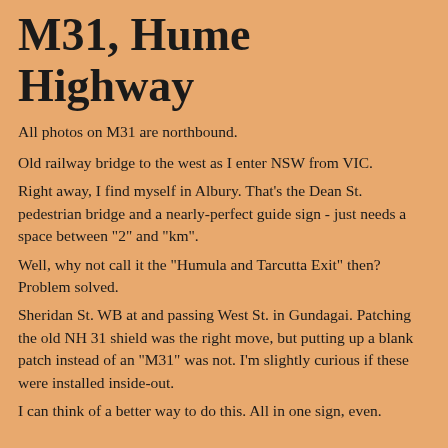M31, Hume Highway
All photos on M31 are northbound.
Old railway bridge to the west as I enter NSW from VIC.
Right away, I find myself in Albury. That's the Dean St. pedestrian bridge and a nearly-perfect guide sign - just needs a space between "2" and "km".
Well, why not call it the "Humula and Tarcutta Exit" then? Problem solved.
Sheridan St. WB at and passing West St. in Gundagai. Patching the old NH 31 shield was the right move, but putting up a blank patch instead of an "M31" was not. I'm slightly curious if these were installed inside-out.
I can think of a better way to do this. All in one sign, even.